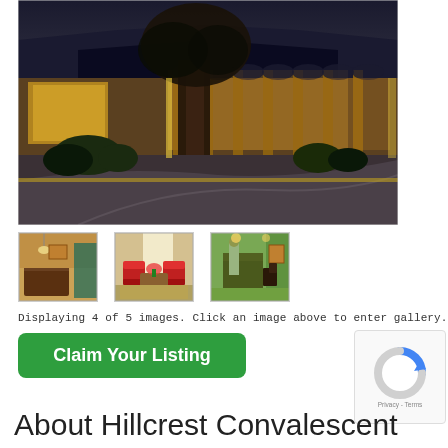[Figure (photo): Exterior night photo of Hillcrest Convalescent facility with large tree in foreground and illuminated entrance with arched columns]
[Figure (photo): Thumbnail: Interior reception/lobby area with warm lighting]
[Figure (photo): Thumbnail: Interior sitting room with red chairs and flowers]
[Figure (photo): Thumbnail: Interior dining or activity room with person standing]
Displaying 4 of 5 images. Click an image above to enter gallery.
Claim Your Listing
About Hillcrest Convalescent